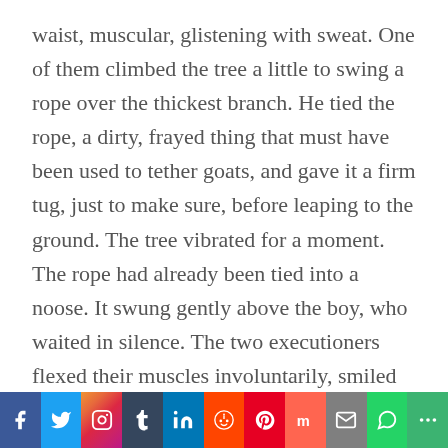waist, muscular, glistening with sweat. One of them climbed the tree a little to swing a rope over the thickest branch. He tied the rope, a dirty, frayed thing that must have been used to tether goats, and gave it a firm tug, just to make sure, before leaping to the ground. The tree vibrated for a moment. The rope had already been tied into a noose. It swung gently above the boy, who waited in silence. The two executioners flexed their muscles involuntarily, smiled nervously, as if they hoped someone else would step forward and take their
[Figure (other): Social media sharing bar with icons for Facebook, Twitter, Instagram, Tumblr, LinkedIn, Reddit, Pinterest, Mix, Email, WhatsApp, and More]